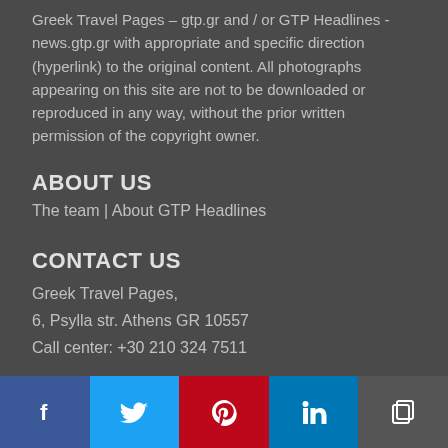Greek Travel Pages – gtp.gr and / or GTP Headlines - news.gtp.gr with appropriate and specific direction (hyperlink) to the original content.  All photographs appearing on this site are not to be downloaded or reproduced in any way, without the prior written permission of the copyright owner.
ABOUT US
The team  |  About GTP Headlines
CONTACT US
Greek Travel Pages,
6, Psylla str. Athens GR 10557
Call center: +30 210 324 7511
Contact Details
CONTRIBUTE
[Figure (infographic): Social share buttons: Facebook (dark blue), Twitter (blue), Pinterest (red), LinkedIn (blue), Copy (grey)]